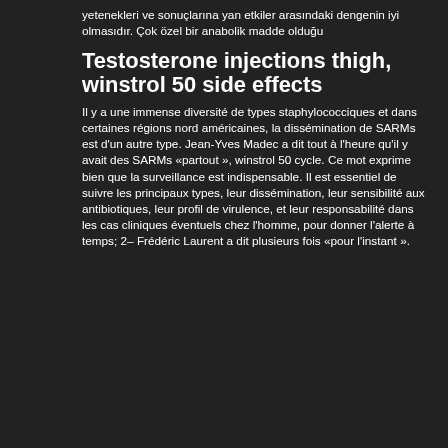yetenekleri ve sonuçlarına yan etkiler arasındaki dengenin iyi olmasıdır. Çok özel bir anabolik madde olduğu
Testosterone injections thigh, winstrol 50 side effects
Il y a une immense diversité de types staphylococciques et dans certaines régions nord américaines, la dissémination de SARMs est d'un autre type. Jean-Yves Madec a dit tout à l'heure qu'il y avait des SARMs «partout », winstrol 50 cycle. Ce mot exprime bien que la surveillance est indispensable. Il est essentiel de suivre les principaux types, leur dissémination, leur sensibilité aux antibiotiques, leur profil de virulence, et leur responsabilité dans les cas cliniques éventuels chez l'homme, pour donner l'alerte à temps; 2– Frédéric Laurent a dit plusieurs fois «pour l'instant ».